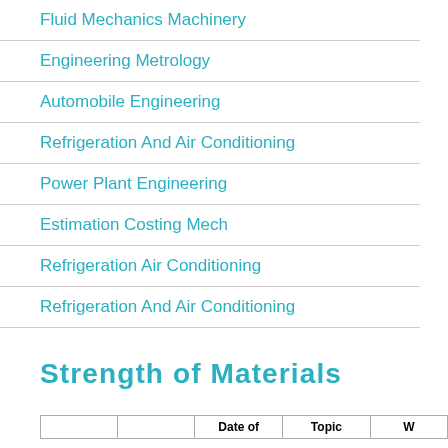Fluid Mechanics Machinery
Engineering Metrology
Automobile Engineering
Refrigeration And Air Conditioning
Power Plant Engineering
Estimation Costing Mech
Refrigeration Air Conditioning
Refrigeration And Air Conditioning
Strength of Materials
|  |  | Date of | Topic | W |
| --- | --- | --- | --- | --- |